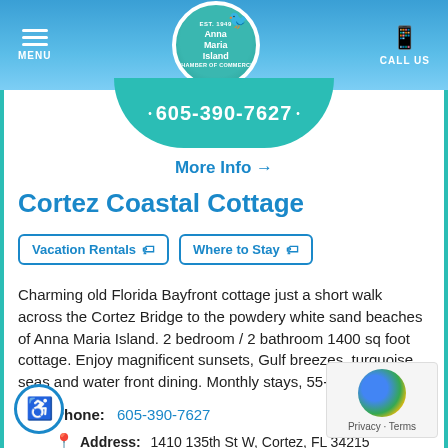MENU | Anna Maria Island Chamber of Commerce | CALL US
[Figure (screenshot): Teal semicircle banner showing phone number 605-390-7627]
More Info →
Cortez Coastal Cottage
Vacation Rentals
Where to Stay
Charming old Florida Bayfront cottage just a short walk across the Cortez Bridge to the powdery white sand beaches of Anna Maria Island. 2 bedroom / 2 bathroom 1400 sq foot cottage. Enjoy magnificent sunsets, Gulf breezes, turquoise seas and water front dining. Monthly stays, 55+ community.
Phone: 605-390-7627
Address: 1410 125th St W, Cortez, FL 34215